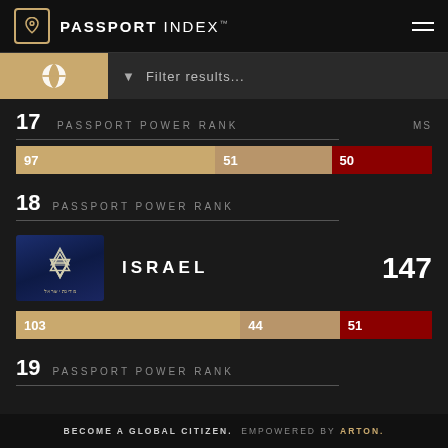PASSPORT INDEX
Filter results...
17  PASSPORT POWER RANK   MS
[Figure (infographic): Score bar for rank 17 showing three segments: 97 (gold), 51 (tan), 50 (red)]
18  PASSPORT POWER RANK
[Figure (photo): Israeli passport cover, dark navy blue with emblem]
ISRAEL   147
[Figure (infographic): Score bar for rank 18 (Israel) showing three segments: 103 (gold), 44 (tan), 51 (red)]
19  PASSPORT POWER RANK
BECOME A GLOBAL CITIZEN.  EMPOWERED BY  ARTON.